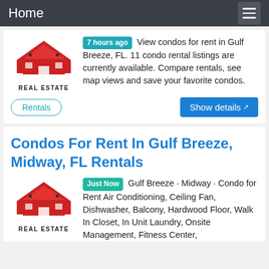Home
[Figure (logo): Real Estate logo with red house/roof icon and text REAL ESTATE]
7 hours ago View condos for rent in Gulf Breeze, FL. 11 condo rental listings are currently available. Compare rentals, see map views and save your favorite condos.
Rentals
Show details
Condos For Rent In Gulf Breeze, Midway, FL Rentals
[Figure (logo): Real Estate logo with red house/roof icon and text REAL ESTATE]
Just Now Gulf Breeze · Midway · Condo for Rent Air Conditioning, Ceiling Fan, Dishwasher, Balcony, Hardwood Floor, Walk In Closet, In Unit Laundry, Onsite Management, Fitness Center,